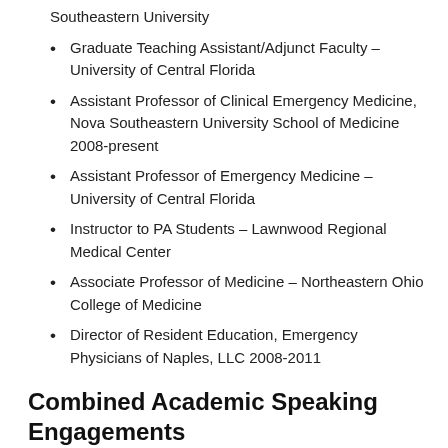Southeastern University
Graduate Teaching Assistant/Adjunct Faculty – University of Central Florida
Assistant Professor of Clinical Emergency Medicine, Nova Southeastern University School of Medicine 2008-present
Assistant Professor of Emergency Medicine – University of Central Florida
Instructor to PA Students – Lawnwood Regional Medical Center
Associate Professor of Medicine – Northeastern Ohio College of Medicine
Director of Resident Education, Emergency Physicians of Naples, LLC 2008-2011
Combined Academic Speaking Engagements